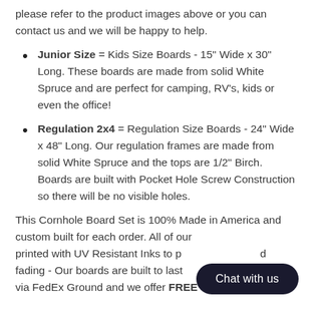please refer to the product images above or you can contact us and we will be happy to help.
Junior Size = Kids Size Boards - 15" Wide x 30" Long. These boards are made from solid White Spruce and are perfect for camping, RV's, kids or even the office!
Regulation 2x4 = Regulation Size Boards - 24" Wide x 48" Long. Our regulation frames are made from solid White Spruce and the tops are 1/2" Birch. Boards are built with Pocket Hole Screw Construction so there will be no visible holes.
This Cornhole Board Set is 100% Made in America and custom built for each order. All of our boards are printed with UV Resistant Inks to prevent fading - Our boards are built to last. Ships via FedEx Ground and we offer FREE Shipping on